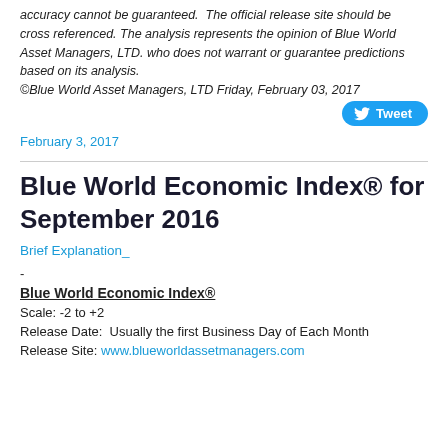accuracy cannot be guaranteed.  The official release site should be cross referenced. The analysis represents the opinion of Blue World Asset Managers, LTD. who does not warrant or guarantee predictions based on its analysis.
©Blue World Asset Managers, LTD Friday, February 03, 2017
February 3, 2017
Blue World Economic Index® for September 2016
Brief Explanation
-
Blue World Economic Index®
Scale: -2 to +2
Release Date:  Usually the first Business Day of Each Month
Release Site: www.blueworldassetmanagers.com